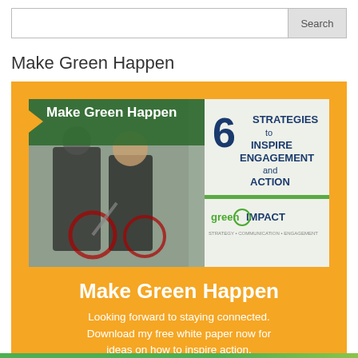Search
Make Green Happen
[Figure (illustration): Orange promotional card for 'Make Green Happen' featuring a banner image with two professionals walking with a bicycle, overlaid text reading 'Make Green Happen' with an orange arrow, and right side showing '6 STRATEGIES to INSPIRE ENGAGEMENT and ACTION' in navy/blue text on a white background with greenIMPACT logo. Below the image is bold white text 'Make Green Happen' and body text about downloading a free white paper.]
Looking forward to staying connected. Download my free white paper now for ideas on how to inspire action.